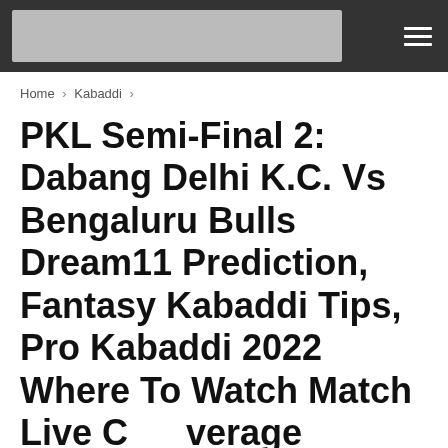[Logo] [Menu]
Home > Kabaddi >
PKL Semi-Final 2: Dabang Delhi K.C. Vs Bengaluru Bulls Dream11 Prediction, Fantasy Kabaddi Tips, Pro Kabaddi 2022 Where To Watch Match Live Coverage Details – February 23